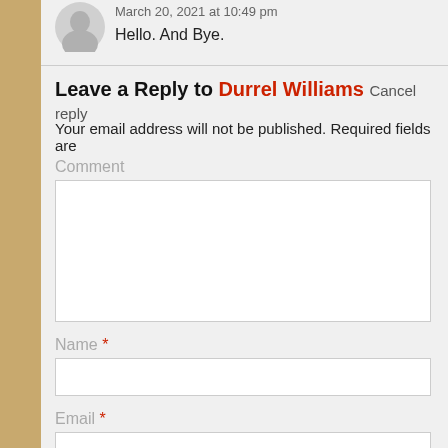March 20, 2021 at 10:49 pm
Hello. And Bye.
Leave a Reply to Durrel Williams Cancel reply
Your email address will not be published. Required fields are
Comment
Name *
Email *